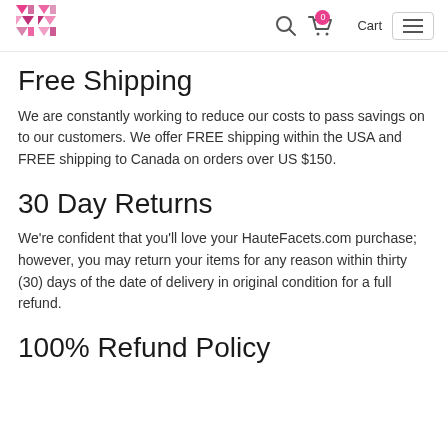HauteFacets logo, Search, Cart (0), Menu
Free Shipping
We are constantly working to reduce our costs to pass savings on to our customers. We offer FREE shipping within the USA and FREE shipping to Canada on orders over US $150.
30 Day Returns
We're confident that you'll love your HauteFacets.com purchase; however, you may return your items for any reason within thirty (30) days of the date of delivery in original condition for a full refund.
100% Refund Policy